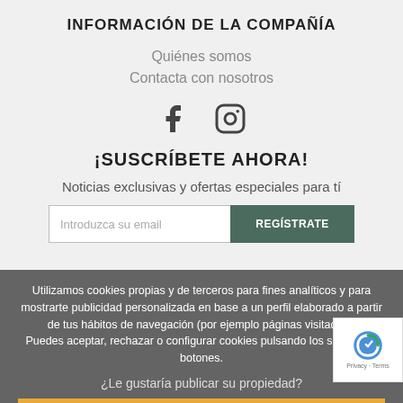INFORMACIÓN DE LA COMPAÑÍA
Quiénes somos
Contacta con nosotros
[Figure (illustration): Facebook and Instagram social media icons]
¡SUSCRÍBETE AHORA!
Noticias exclusivas y ofertas especiales para tí
Introduzca su email
REGÍSTRATE
Utilizamos cookies propias y de terceros para fines analíticos y para mostrarte publicidad personalizada en base a un perfil elaborado a partir de tus hábitos de navegación (por ejemplo páginas visitadas). Puedes aceptar, rechazar o configurar cookies pulsando los siguientes botones.
¿Le gustaría publicar su propiedad?
Aceptar
COMO ANUNCIARSE
Rechazar